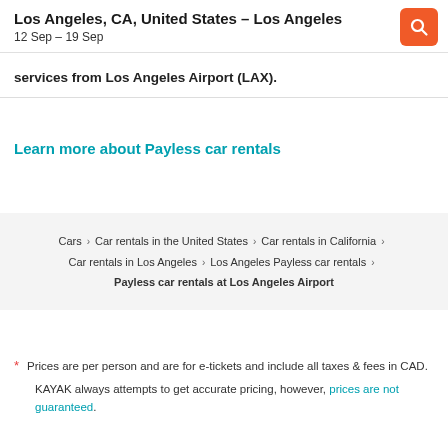Los Angeles, CA, United States – Los Angeles
12 Sep – 19 Sep
services from Los Angeles Airport (LAX).
Learn more about Payless car rentals
Cars > Car rentals in the United States > Car rentals in California > Car rentals in Los Angeles > Los Angeles Payless car rentals > Payless car rentals at Los Angeles Airport
* Prices are per person and are for e-tickets and include all taxes & fees in CAD.
KAYAK always attempts to get accurate pricing, however, prices are not guaranteed.